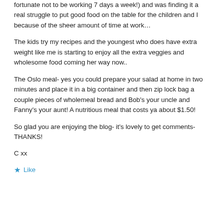fortunate not to be working 7 days a week!) and was finding it a real struggle to put good food on the table for the children and I because of the sheer amount of time at work…
The kids try my recipes and the youngest who does have extra weight like me is starting to enjoy all the extra veggies and wholesome food coming her way now..
The Oslo meal- yes you could prepare your salad at home in two minutes and place it in a big container and then zip lock bag a couple pieces of wholemeal bread and Bob's your uncle and Fanny's your aunt! A nutritious meal that costs ya about $1.50!
So glad you are enjoying the blog- it's lovely to get comments- THANKS!
C xx
★ Like